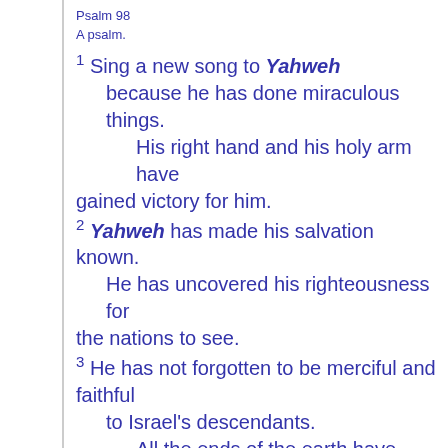Psalm 98
A psalm.
1 Sing a new song to Yahweh because he has done miraculous things. His right hand and his holy arm have gained victory for him.
2 Yahweh has made his salvation known. He has uncovered his righteousness for the nations to see.
3 He has not forgotten to be merciful and faithful to Israel's descendants. All the ends of the earth have seen how our Elohim saves them.